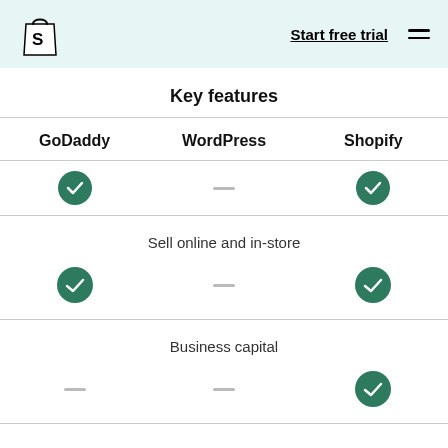Shopify logo | Start free trial | Menu
Key features
| GoDaddy | WordPress | Shopify |
| --- | --- | --- |
| ✓ | — | ✓ |
| Sell online and in-store |  |  |
| ✓ | — | ✓ |
| Business capital |  |  |
| — | — | ✓ |